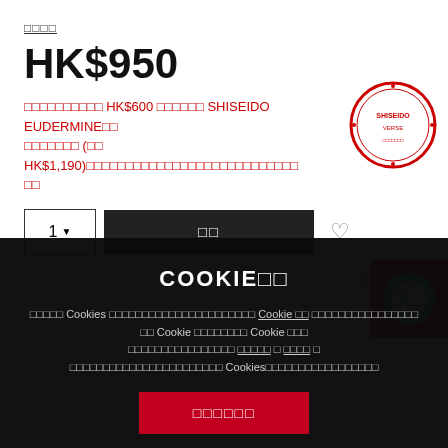□□□□
HK$950
□□□□□□□□□□ HK$600 □□□□□□ SHISEIDO EUDERMINE □□ □□□□□□□ (□□ HK$1,190)□□□□□□□□□□□□□□□□□□□□□□□□□□□□□□
[Figure (logo): SHISEIDOVERSE circular stamp logo in red]
1 ▼  □□
COOKIE□□
□□□□□ Cookies □□□□□□□□□□□□□□□□□□□□□□ Cookie □□ □□□□□□□□□□□□□□□□ □□ Cookie □□□□□□□□ Cookie □□□ □□□□□□□□□□□□□□□□ □□□□□ □ □□□□ □ □□□□□□□□□□□□□□□□□□□□□□□ Cookies□□□□□□□□□□□□□□□□□
□□□□□□